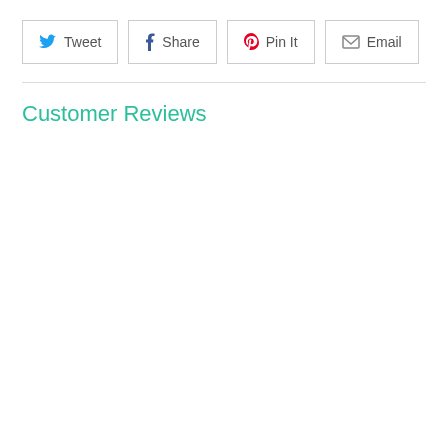[Figure (infographic): Four social share buttons in a row: Tweet (Twitter bird icon, blue), Share (Facebook f icon, dark blue), Pin It (Pinterest P icon, red), Email (envelope icon, gray)]
Customer Reviews